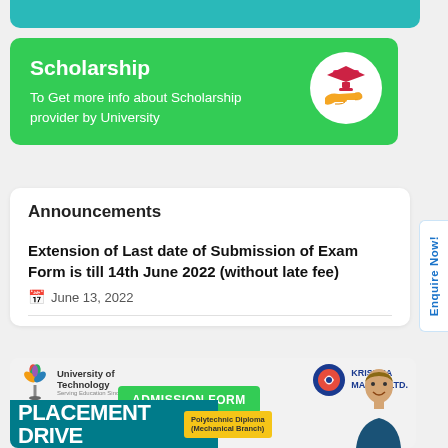[Figure (infographic): Teal colored partial banner at the top of the page]
Scholarship
To Get more info about Scholarship provider by University
[Figure (illustration): Scholarship icon: hand receiving a graduation cap, in a white circle on green background]
Announcements
Extension of Last date of Submission of Exam Form is till 14th June 2022 (without late fee)
June 13, 2022
[Figure (infographic): Placement Drive banner showing University of Technology logo, Krishna Maruti Ltd. logo, an Admission Form green button, and large text reading PLACEMENT DRIVE with Polytechnic Diploma (Mechanical Branch) badge, plus a smiling person photo on the right]